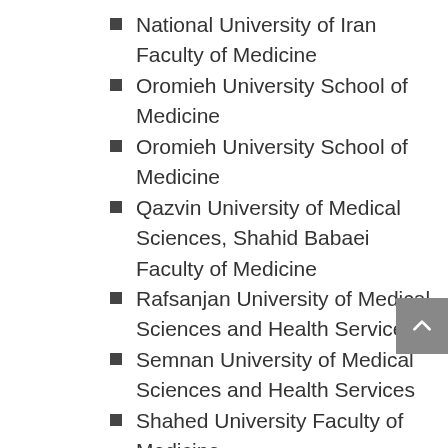National University of Iran Faculty of Medicine
Oromieh University School of Medicine
Oromieh University School of Medicine
Qazvin University of Medical Sciences, Shahid Babaei Faculty of Medicine
Rafsanjan University of Medical Sciences and Health Services
Semnan University of Medical Sciences and Health Services
Shahed University Faculty of Medicine
Shahid Bahonar University...